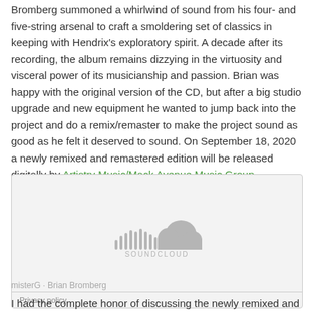Bromberg summoned a whirlwind of sound from his four- and five-string arsenal to craft a smoldering set of classics in keeping with Hendrix's exploratory spirit. A decade after its recording, the album remains dizzying in the virtuosity and visceral power of its musicianship and passion. Brian was happy with the original version of the CD, but after a big studio upgrade and new equipment he wanted to jump back into the project and do a remix/remaster to make the project sound as good as he felt it deserved to sound. On September 18, 2020 a newly remixed and remastered edition will be released digitally by Artistry Music/Mack Avenue Music Group.
[Figure (other): SoundCloud embedded player placeholder showing the SoundCloud logo (sound wave bars and cloud icon) with the text SOUNDCLOUD below it, and a Privacy policy link at the bottom left.]
misterG · Brian Bromberg
I had the complete honor of discussing the newly remixed and remastered edition of this epic album with Mr. Bromberg. We got into how the original